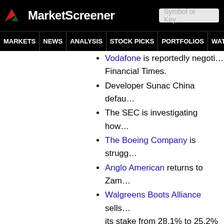MarketScreenener
MARKETS NEWS ANALYSIS STOCK PICKS PORTFOLIOS WATCHLI...
Vodafone is reportedly negoti... Financial Times.
Developer Sunac China defau...
The SEC is investigating how...
The Boeing Company is strugg...
Anglo American returns to Zam...
Walgreens Boots Alliance sells... its stake from 28.1% to 25.2%
Instacart prepares for its IPO...
Apple is down 1.4% in pre-ma... for electronic products and ten...
Alphabet subsidiary Google o... transcribe and translate a conv...
Meta Platforms confirmed We...